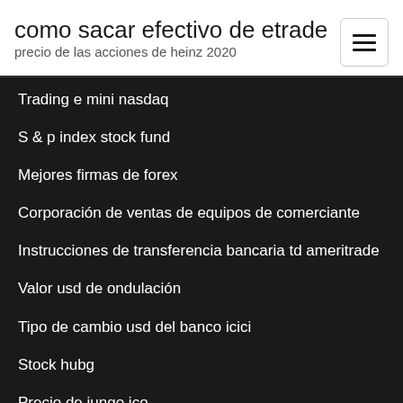como sacar efectivo de etrade
precio de las acciones de heinz 2020
Trading e mini nasdaq
S & p index stock fund
Mejores firmas de forex
Corporación de ventas de equipos de comerciante
Instrucciones de transferencia bancaria td ameritrade
Valor usd de ondulación
Tipo de cambio usd del banco icici
Stock hubg
Precio de iungo ico
Udemy - bitcoin el futuro del dinero